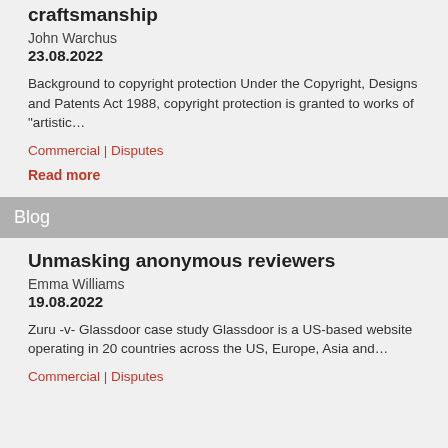craftsmanship
John Warchus
23.08.2022
Background to copyright protection Under the Copyright, Designs and Patents Act 1988, copyright protection is granted to works of "artistic…
Commercial | Disputes
Read more
Blog
Unmasking anonymous reviewers
Emma Williams
19.08.2022
Zuru -v- Glassdoor case study Glassdoor is a US-based website operating in 20 countries across the US, Europe, Asia and…
Commercial | Disputes